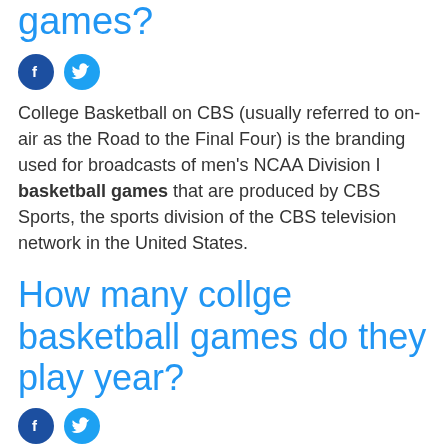games?
[Figure (infographic): Facebook and Twitter social share icons (blue circles with white f and bird logos)]
College Basketball on CBS (usually referred to on-air as the Road to the Final Four) is the branding used for broadcasts of men's NCAA Division I basketball games that are produced by CBS Sports, the sports division of the CBS television network in the United States.
How many collge basketball games do they play year?
[Figure (infographic): Facebook and Twitter social share icons (blue circles with white f and bird logos)]
33 games
(partial/cut off text at bottom)